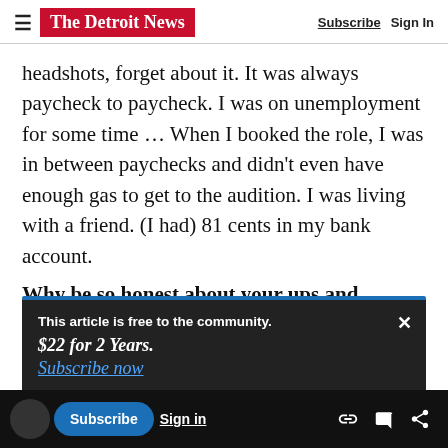The Detroit News — Subscribe | Sign In
headshots, forget about it. It was always paycheck to paycheck. I was on unemployment for some time ... When I booked the role, I was in between paychecks and didn't even have enough gas to get to the audition. I was living with a friend. (I had) 81 cents in my bank account.
Why be so honest about your ups and downs?
This article is free to the community.
$22 for 2 Years.
Subscribe now
to be authentically myself and honest
Subscribe  Sign in  Advertisement